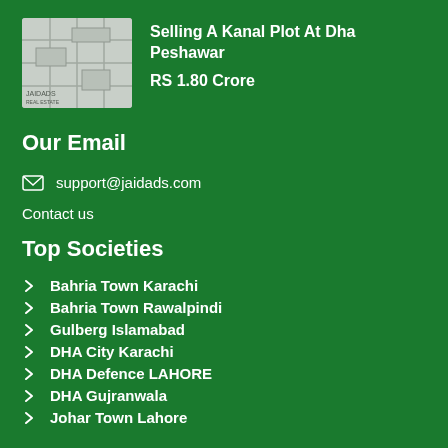[Figure (map): Thumbnail map image showing a plot location]
Selling A Kanal Plot At Dha Peshawar
RS 1.80 Crore
Our Email
support@jaidads.com
Contact us
Top Societies
Bahria Town Karachi
Bahria Town Rawalpindi
Gulberg Islamabad
DHA City Karachi
DHA Defence LAHORE
DHA Gujranwala
Johar Town Lahore